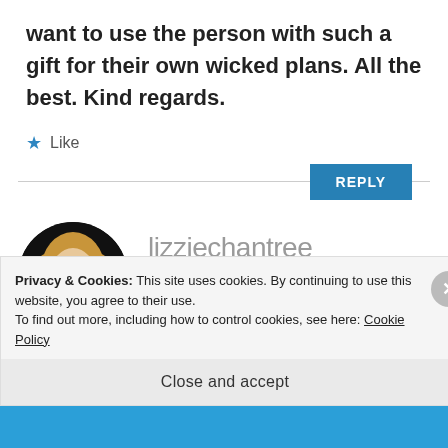want to use the person with such a gift for their own wicked plans. All the best. Kind regards.
★ Like
REPLY
lizziechantree
APRIL 22, 2017 AT 16:20
Privacy & Cookies: This site uses cookies. By continuing to use this website, you agree to their use.
To find out more, including how to control cookies, see here: Cookie Policy
Close and accept